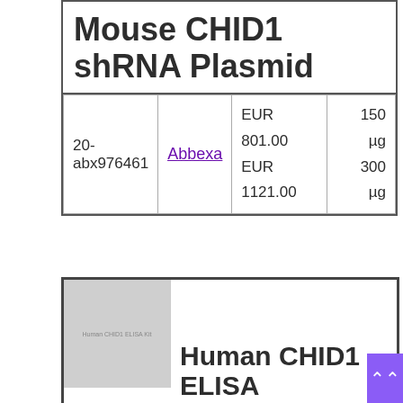Mouse CHID1 shRNA Plasmid
|  |  | Price | Quantity |
| --- | --- | --- | --- |
| 20-abx976461 | Abbexa | EUR 801.00
EUR 1121.00 | 150 µg
300 µg |
[Figure (photo): Human CHID1 ELISA Kit product image thumbnail, grayscale placeholder]
Human CHID1 ELISA